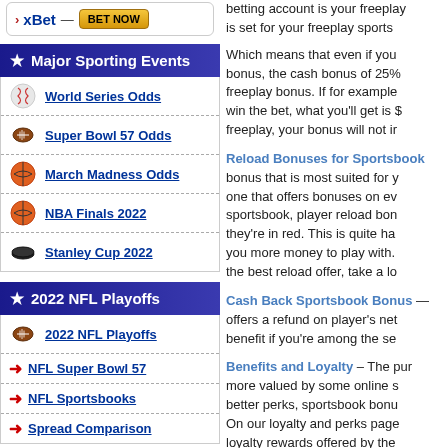xBet — BET NOW
Major Sporting Events
World Series Odds
Super Bowl 57 Odds
March Madness Odds
NBA Finals 2022
Stanley Cup 2022
2022 NFL Playoffs
2022 NFL Playoffs
NFL Super Bowl 57
NFL Sportsbooks
Spread Comparison
betting account is your freeplay sports is set for your freeplay sports
Which means that even if you bonus, the cash bonus of 25% freeplay bonus. If for example win the bet, what you'll get is $ freeplay, your bonus will not ir
Reload Bonuses for Sportsbook bonus that is most suited for y one that offers bonuses on ev sportsbook, player reload bon they're in red. This is quite ha you more money to play with. the best reload offer, take a lo
Cash Back Sportsbook Bonus — offers a refund on player's net benefit if you're among the se
Benefits and Loyalty – The pur more valued by some online s better perks, sportsbook bonu On our loyalty and perks page loyalty rewards offered by the us.